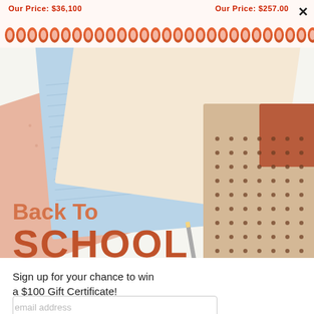Our Price: $36,100   Our Price: $257.00
[Figure (photo): Colorful school notebooks/notepads arranged at angles — light blue lined, peach/salmon, and tan dotted with terracotta corner, shot from above on white background. Decorative spiral binding rings shown at top.]
Back To SCHOOL
Sign up for your chance to win a $100 Gift Certificate!
email address